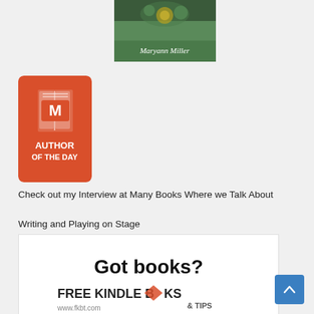[Figure (illustration): Book cover with green background showing 'Maryann Miller' text and decorative elements]
[Figure (logo): ManyBooks Author of the Day badge - orange/red square with white book icon with M, and text AUTHOR OF THE DAY]
Check out my Interview at Many Books Where we Talk About Writing and Playing on Stage
[Figure (infographic): Free Kindle Books and Tips advertisement with 'Got books?' headline and www.fkbt.com URL]